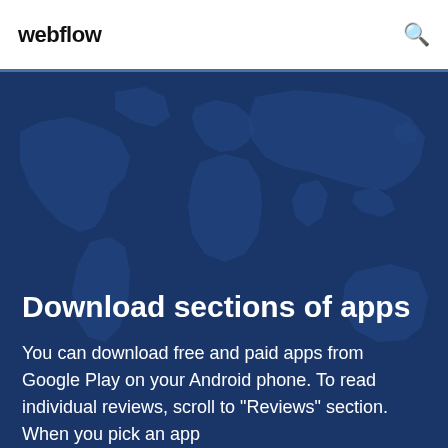webflow
[Figure (illustration): World map silhouette in dark blue tones used as hero background]
Download sections of apps
You can download free and paid apps from Google Play on your Android phone. To read individual reviews, scroll to "Reviews" section. When you pick an app